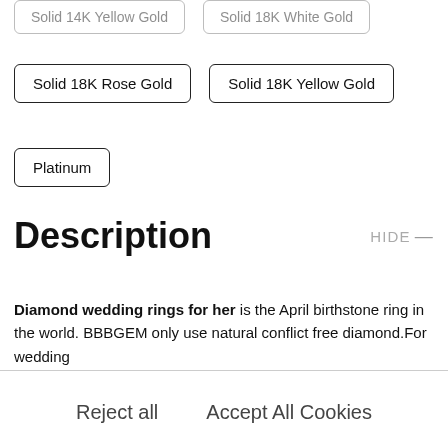Solid 14K Yellow Gold
Solid 18K White Gold
Solid 18K Rose Gold
Solid 18K Yellow Gold
Platinum
Description
Diamond wedding rings for her is the April birthstone ring in the world. BBBGEM only use natural conflict free diamond.For wedding
Reject all
Accept All Cookies